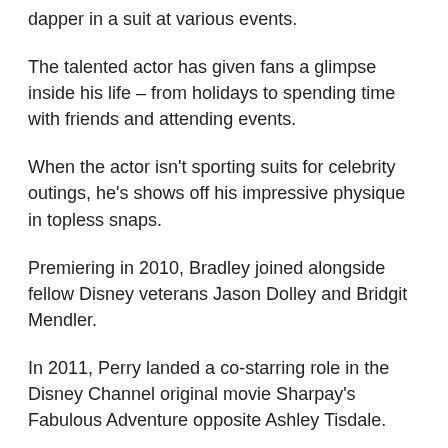dapper in a suit at various events.
The talented actor has given fans a glimpse inside his life – from holidays to spending time with friends and attending events.
When the actor isn't sporting suits for celebrity outings, he's shows off his impressive physique in topless snaps.
Premiering in 2010, Bradley joined alongside fellow Disney veterans Jason Dolley and Bridgit Mendler.
In 2011, Perry landed a co-starring role in the Disney Channel original movie Sharpay's Fabulous Adventure opposite Ashley Tisdale.
Most read in News TV